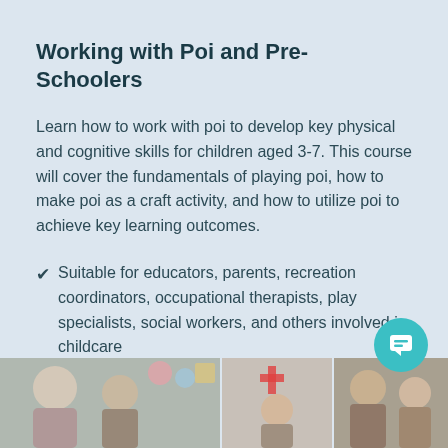Working with Poi and Pre-Schoolers
Learn how to work with poi to develop key physical and cognitive skills for children aged 3-7. This course will cover the fundamentals of playing poi, how to make poi as a craft activity, and how to utilize poi to achieve key learning outcomes.
Suitable for educators, parents, recreation coordinators, occupational therapists, play specialists, social workers, and others involved in childcare
[Figure (photo): Group of children and adults in a classroom or activity setting, colorful decorations on wall in background]